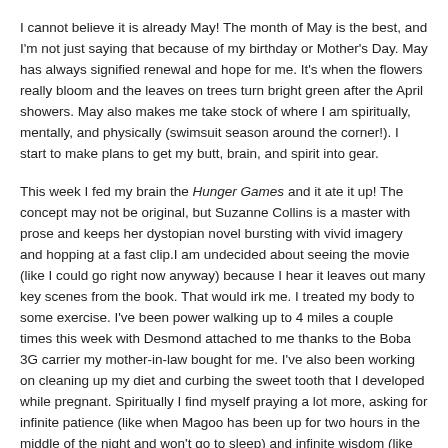I cannot believe it is already May! The month of May is the best, and I'm not just saying that because of my birthday or Mother's Day. May has always signified renewal and hope for me. It's when the flowers really bloom and the leaves on trees turn bright green after the April showers. May also makes me take stock of where I am spiritually, mentally, and physically (swimsuit season around the corner!). I start to make plans to get my butt, brain, and spirit into gear.
This week I fed my brain the Hunger Games and it ate it up! The concept may not be original, but Suzanne Collins is a master with prose and keeps her dystopian novel bursting with vivid imagery and hopping at a fast clip.I am undecided about seeing the movie (like I could go right now anyway) because I hear it leaves out many key scenes from the book. That would irk me. I treated my body to some exercise. I've been power walking up to 4 miles a couple times this week with Desmond attached to me thanks to the Boba 3G carrier my mother-in-law bought for me. I've also been working on cleaning up my diet and curbing the sweet tooth that I developed while pregnant. Spiritually I find myself praying a lot more, asking for infinite patience (like when Magoo has been up for two hours in the middle of the night and won't go to sleep) and infinite wisdom (like when Marlie is throwing an atomic tantrum and I need to get through to